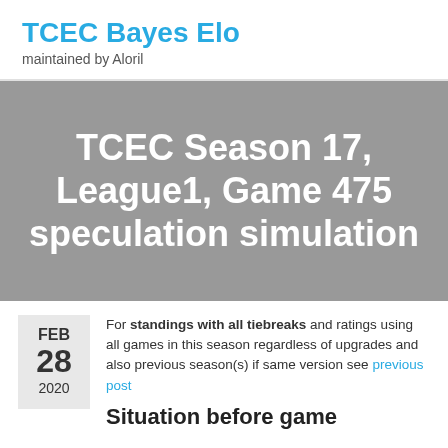TCEC Bayes Elo
maintained by Aloril
[Figure (other): Gray hero banner with white bold text reading: TCEC Season 17, League1, Game 475 speculation simulation]
FEB
28
2020
For standings with all tiebreaks and ratings using all games in this season regardless of upgrades and also previous season(s) if same version see previous post
Situation before game